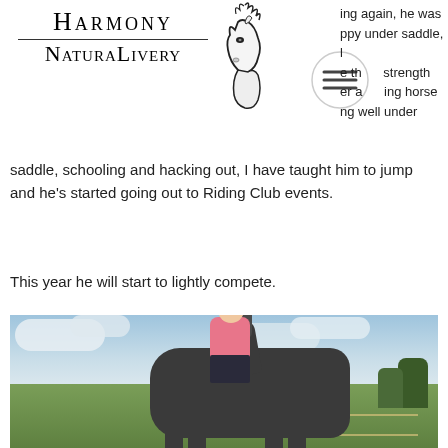[Figure (logo): Harmony NaturaLivery logo with horse illustration and hamburger menu icon overlay]
ing again, he was ppy under saddle, I e th strength er a ing horse ng well under saddle, schooling and hacking out, I have taught him to jump and he's started going out to Riding Club events.
This year he will start to lightly compete.
[Figure (photo): A rider wearing a pink top and black helmet sitting on a grey/dark horse outdoors in a green field with blue cloudy sky in the background]